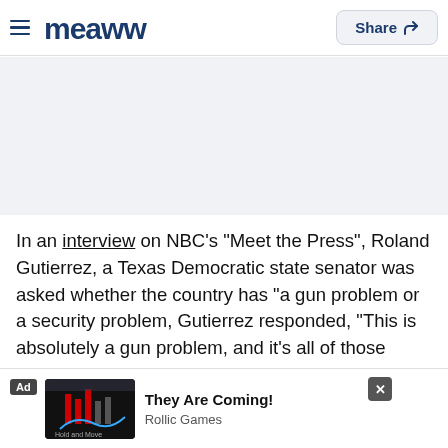Meaww — Share
[Figure (other): Gray advertisement banner placeholder area]
In an interview on NBC's “Meet the Press”, Roland Gutierrez, a Texas Democratic state senator was asked whether the country has “a gun problem or a security problem, Gutierrez responded, "This is absolutely a gun problem, and it's all of those things," he said. Abbott thinks it's a mental health problem. Sure it is. Well, then go fund it properly. We're dead la...es. You know, w...e
[Figure (screenshot): Inline advertisement overlay: 'They Are Coming!' by Rollic Games, with a dark game image and X close button]